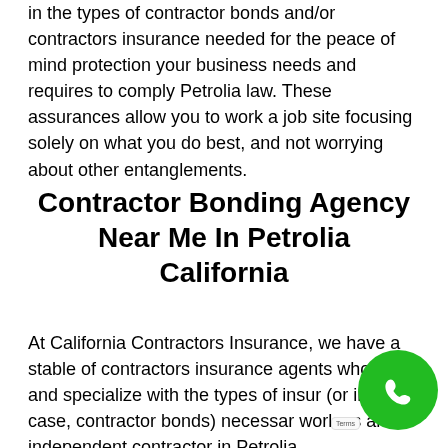in the types of contractor bonds and/or contractors insurance needed for the peace of mind protection your business needs and requires to comply Petrolia law. These assurances allow you to work a job site focusing solely on what you do best, and not worrying about other entanglements.
Contractor Bonding Agency Near Me In Petrolia California
At California Contractors Insurance, we have a stable of contractors insurance agents who excel and specialize with the types of insur (or in this case, contractor bonds) necessar work as an independent contractor in Petrolia